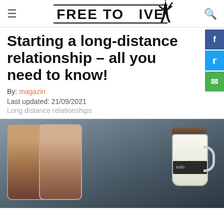FREE TO LIVE
Starting a long-distance relationship – all you need to know!
By: magazin
Last updated: 21/09/2021
Long distance relationships
[Figure (photo): Two smartphones showing a couple kissing, alongside a coffee mug with a chalkboard label, against a dark blurred background.]